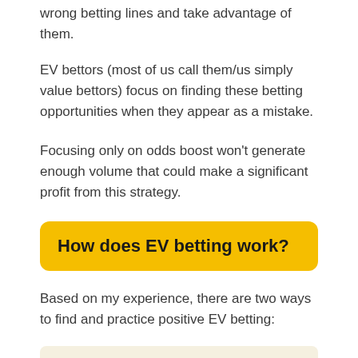wrong betting lines and take advantage of them.
EV bettors (most of us call them/us simply value bettors) focus on finding these betting opportunities when they appear as a mistake.
Focusing only on odds boost won’t generate enough volume that could make a significant profit from this strategy.
How does EV betting work?
Based on my experience, there are two ways to find and practice positive EV betting:
1. Using EV bet finders/software
It’s the most common and simple way of making money